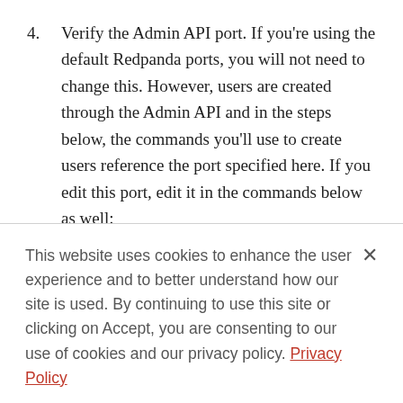4. Verify the Admin API port. If you're using the default Redpanda ports, you will not need to change this. However, users are created through the Admin API and in the steps below, the commands you'll use to create users reference the port specified here. If you edit this port, edit it in the commands below as well:
This website uses cookies to enhance the user experience and to better understand how our site is used. By continuing to use this site or clicking on Accept, you are consenting to our use of cookies and our privacy policy. Privacy Policy
Cookie Settings | Accept All Cookies